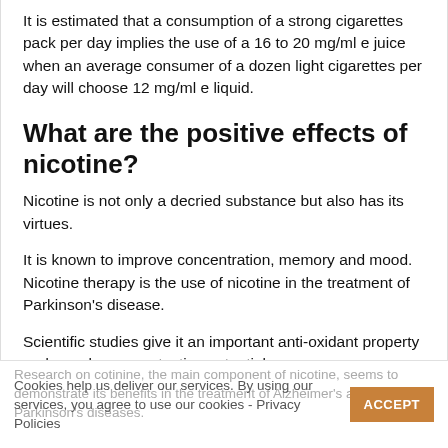It is estimated that a consumption of a strong cigarettes pack per day implies the use of a 16 to 20 mg/ml e juice when an average consumer of a dozen light cigarettes per day will choose 12 mg/ml e liquid.
What are the positive effects of nicotine?
Nicotine is not only a decried substance but also has its virtues.
It is known to improve concentration, memory and mood. Nicotine therapy is the use of nicotine in the treatment of Parkinson's disease.
Scientific studies give it an important anti-oxidant property and a real neuroprotective potential.
Research on cotinine, the main component of nicotine, seems to demonstrate its benefits in the treatment of Alzheimer's and Parkinson's diseases.
Cookies help us deliver our services. By using our services, you agree to use our cookies - Privacy Policies